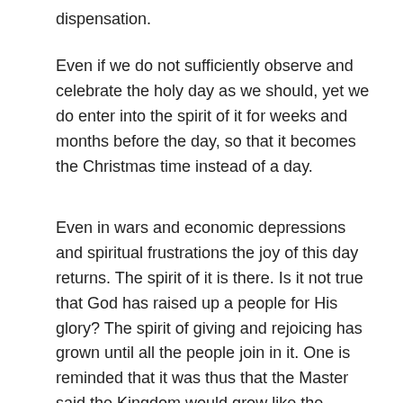dispensation.
Even if we do not sufficiently observe and celebrate the holy day as we should, yet we do enter into the spirit of it for weeks and months before the day, so that it becomes the Christmas time instead of a day.
Even in wars and economic depressions and spiritual frustrations the joy of this day returns. The spirit of it is there. Is it not true that God has raised up a people for His glory? The spirit of giving and rejoicing has grown until all the people join in it. One is reminded that it was thus that the Master said the Kingdom would grow like the leaven until the whole is leavened.